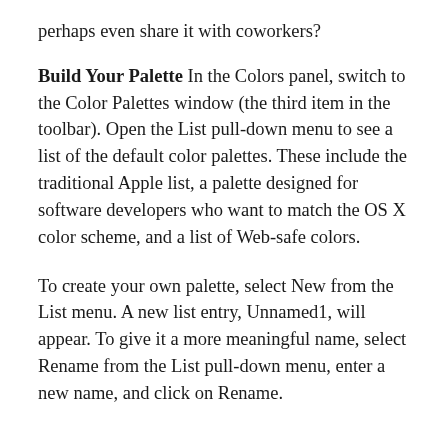perhaps even share it with coworkers?
Build Your Palette In the Colors panel, switch to the Color Palettes window (the third item in the toolbar). Open the List pull-down menu to see a list of the default color palettes. These include the traditional Apple list, a palette designed for software developers who want to match the OS X color scheme, and a list of Web-safe colors.
To create your own palette, select New from the List menu. A new list entry, Unnamed1, will appear. To give it a more meaningful name, select Rename from the List pull-down menu, enter a new name, and click on Rename.